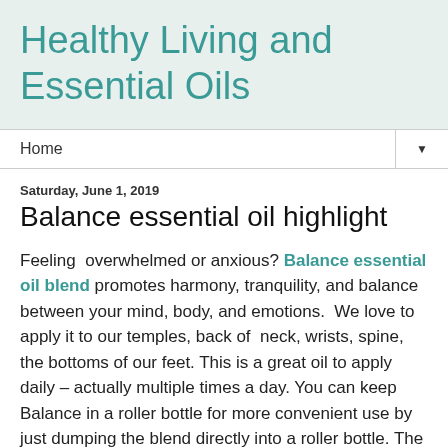Healthy Living and Essential Oils
Home
Saturday, June 1, 2019
Balance essential oil highlight
Feeling overwhelmed or anxious? Balance essential oil blend promotes harmony, tranquility, and balance between your mind, body, and emotions.  We love to apply it to our temples, back of neck, wrists, spine, the bottoms of our feet. This is a great oil to apply daily – actually multiple times a day. You can keep Balance in a roller bottle for more convenient use by just dumping the blend directly into a roller bottle. The blend is already diluted with coconut oil so you don't have to do anything to the blend – making it a really easy